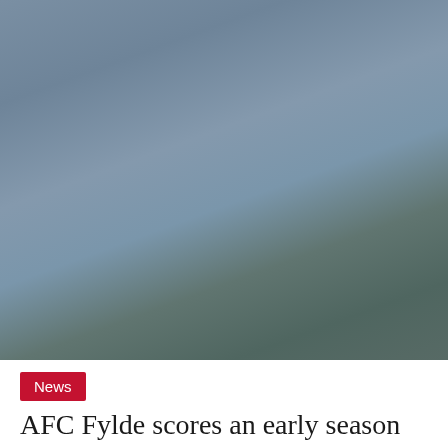[Figure (photo): Blurred outdoor photograph with muted blue-grey sky tones and darker green-grey lower portion, likely a sports ground or landscape scene.]
News
AFC Fylde scores an early season win with